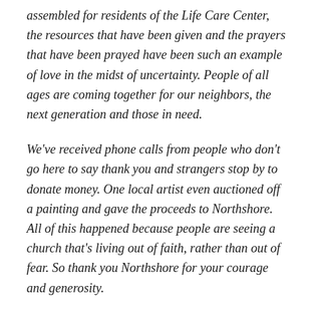assembled for residents of the Life Care Center, the resources that have been given and the prayers that have been prayed have been such an example of love in the midst of uncertainty. People of all ages are coming together for our neighbors, the next generation and those in need.
We've received phone calls from people who don't go here to say thank you and strangers stop by to donate money. One local artist even auctioned off a painting and gave the proceeds to Northshore. All of this happened because people are seeing a church that's living out of faith, rather than out of fear. So thank you Northshore for your courage and generosity.